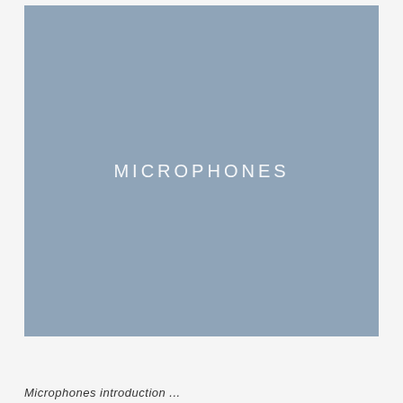[Figure (illustration): Large blue-grey rectangular panel centered on the page with the word MICROPHONES displayed in white spaced letters at the vertical and horizontal center of the panel.]
Microphones introduction ...